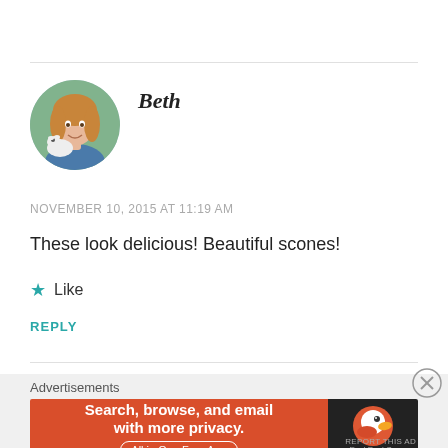[Figure (photo): Circular avatar photo of a young woman with long blonde hair, smiling, holding a small white dog, outdoors with green background]
Beth
NOVEMBER 10, 2015 AT 11:19 AM
These look delicious! Beautiful scones!
★ Like
REPLY
Advertisements
[Figure (screenshot): DuckDuckGo advertisement banner: orange left side with text 'Search, browse, and email with more privacy. All in One Free App', dark right side with DuckDuckGo logo]